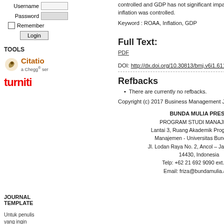Username
Password
Remember
Login
TOOLS
[Figure (logo): Citation / Citatio a Chegg service logo with squirrel icon]
[Figure (logo): Turnitin logo in red text]
JOURNAL TEMPLATE
Untuk penulis yang ingin mengirimkan artikel, harap gunakan template
controlled and GDP has not significant impact to ROAA while inflation was controlled.
Keyword : ROAA, Inflation, GDP
Full Text:
PDF
DOI: http://dx.doi.org/10.30813/bmj.v6i1.611
Refbacks
There are currently no refbacks.
Copyright (c) 2017 Business Management Journal
BUNDA MULIA PRESS
PROGRAM STUDI MANAJEMEN
Lantai 3, Ruang Akademik Program Studi Manajemen - Universitas Bunda Mulia
Jl. Lodan Raya No. 2, Ancol – Jakarta Utara 14430, Indonesia
Telp: +62 21 692 9090 ext.1364
Email: friza@bundamulia.ac.id
[Figure (other): Barcode top right with number 19070]
e-ISSN
[Figure (other): Barcode bottom right with number 9 772598 67]
[Figure (logo): GARUDA logo]
[Figure (logo): Google Ce... logo]
[Figure (logo): Crossref logo with colorful shapes]